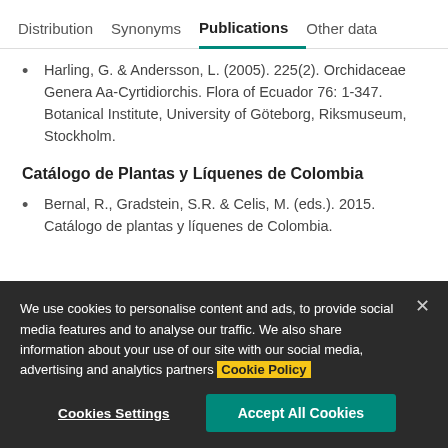Distribution  Synonyms  Publications  Other data
Harling, G. & Andersson, L. (2005). 225(2). Orchidaceae Genera Aa-Cyrtidiorchis. Flora of Ecuador 76: 1-347. Botanical Institute, University of Göteborg, Riksmuseum, Stockholm.
Catálogo de Plantas y Líquenes de Colombia
Bernal, R., Gradstein, S.R. & Celis, M. (eds.). 2015. Catálogo de plantas y líquenes de Colombia.
We use cookies to personalise content and ads, to provide social media features and to analyse our traffic. We also share information about your use of our site with our social media, advertising and analytics partners Cookie Policy
Cookies Settings  Accept All Cookies